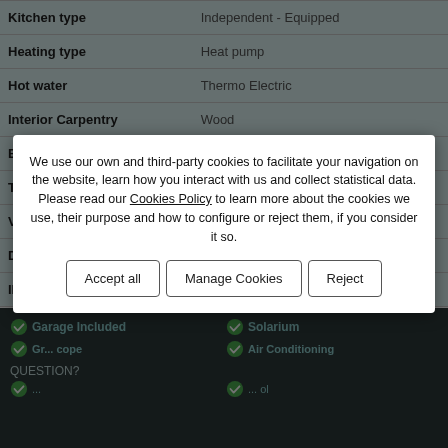| Property | Value |
| --- | --- |
| Kitchen type | Independent - Equipped |
| Heating type | Heat pump |
| Hot water | Thermo Electric |
| Interior Carpentry | Wood |
| Exterior Carpentry | Aluminum |
| Type of Floor | Marble |
| Views | To the street |
| Distance to the sea | 100 Metres |
| IBI | 900€ |
Garage Included
Solarium
Air Conditioning
QUESTION?
We use our own and third-party cookies to facilitate your navigation on the website, learn how you interact with us and collect statistical data. Please read our Cookies Policy to learn more about the cookies we use, their purpose and how to configure or reject them, if you consider it so.